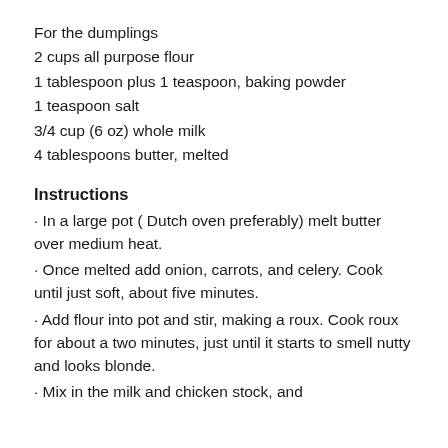For the dumplings
2 cups all purpose flour
1 tablespoon plus 1 teaspoon, baking powder
1 teaspoon salt
3/4 cup (6 oz) whole milk
4 tablespoons butter, melted
Instructions
· In a large pot ( Dutch oven preferably) melt butter over medium heat.
· Once melted add onion, carrots, and celery. Cook until just soft, about five minutes.
· Add flour into pot and stir, making a roux. Cook roux for about a two minutes, just until it starts to smell nutty and looks blonde.
· Mix in the milk and chicken stock, and